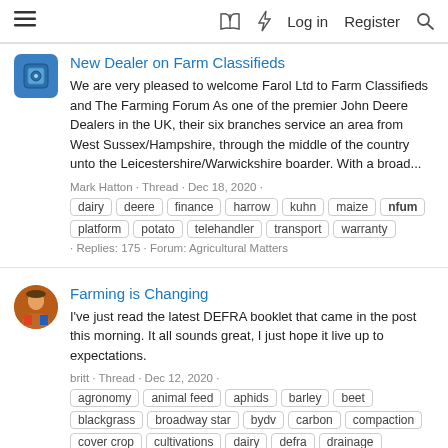≡  🔖 ⚡ Log in  Register 🔍
New Dealer on Farm Classifieds
We are very pleased to welcome Farol Ltd to Farm Classifieds and The Farming Forum As one of the premier John Deere Dealers in the UK, their six branches service an area from West Sussex/Hampshire, through the middle of the country unto the Leicestershire/Warwickshire boarder. With a broad...
Mark Hatton · Thread · Dec 18, 2020 · dairy  deere  finance  harrow  kuhn  maize  nfum  platform  potato  telehandler  transport  warranty · Replies: 175 · Forum: Agricultural Matters
Farming is Changing
I've just read the latest DEFRA booklet that came in the post this morning. It all sounds great, I just hope it live up to expectations.
britt · Thread · Dec 12, 2020 · agronomy  animal feed  aphids  barley  beet  blackgrass  broadway star  bydv  carbon  compaction  cover crop  cultivations  dairy  defra  drainage  drilling  drills  elms  establishment  fertiliser  fertility  fodder  fungicide  fusarium  glyphosate  grassland  harrow  harvesting  herbicide  insecticide  insurance  maize